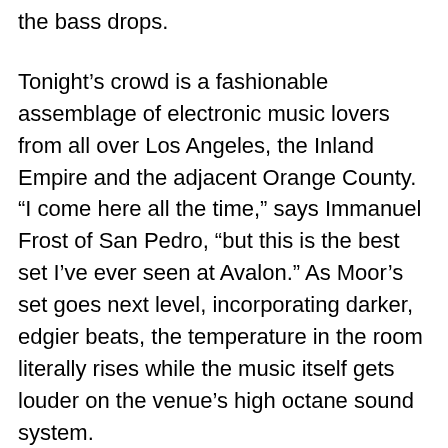the bass drops.
Tonight’s crowd is a fashionable assemblage of electronic music lovers from all over Los Angeles, the Inland Empire and the adjacent Orange County. “I come here all the time,” says Immanuel Frost of San Pedro, “but this is the best set I’ve ever seen at Avalon.” As Moor’s set goes next level, incorporating darker, edgier beats, the temperature in the room literally rises while the music itself gets louder on the venue’s high octane sound system.
Moor triumphantly surrenders the decks to Australian DJ tyDi for the final leg of our journey. “Los Angeles! I’m so fucking happy to be here tonight,” the classically trained musician and top ranked DJ announces. The applause he receives suggests that Los Angeles is just as happy to see him. tyDi wastes no time launching into a hyphy, full